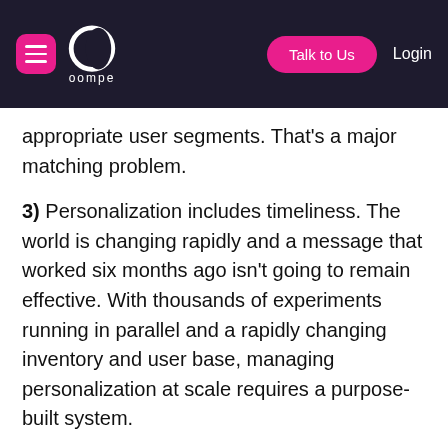oompe — navigation bar with menu button, logo, Talk to Us button, Login link
appropriate user segments. That's a major matching problem.
3) Personalization includes timeliness. The world is changing rapidly and a message that worked six months ago isn't going to remain effective. With thousands of experiments running in parallel and a rapidly changing inventory and user base, managing personalization at scale requires a purpose-built system.
Push notifications can be so much better, more meaningful and more effective than they usually